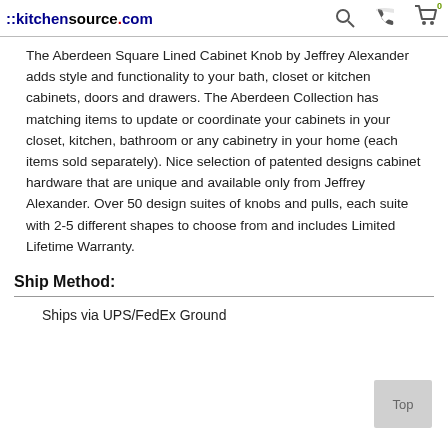::kitchensource.com
The Aberdeen Square Lined Cabinet Knob by Jeffrey Alexander adds style and functionality to your bath, closet or kitchen cabinets, doors and drawers. The Aberdeen Collection has matching items to update or coordinate your cabinets in your closet, kitchen, bathroom or any cabinetry in your home (each items sold separately). Nice selection of patented designs cabinet hardware that are unique and available only from Jeffrey Alexander. Over 50 design suites of knobs and pulls, each suite with 2-5 different shapes to choose from and includes Limited Lifetime Warranty.
Ship Method:
Ships via UPS/FedEx Ground